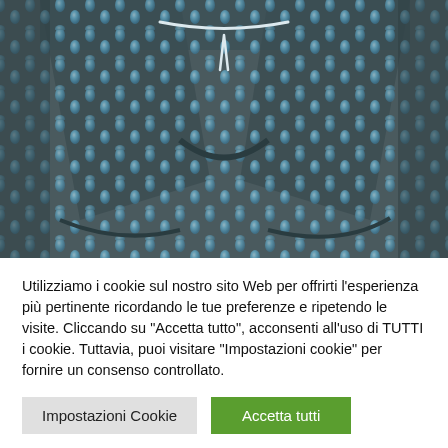[Figure (photo): Close-up photo of men's swim shorts with a dark teal/grey background and a repeating pattern of light blue teardrop/droplet shapes, with a white drawstring visible at the waistband.]
Utilizziamo i cookie sul nostro sito Web per offrirti l'esperienza più pertinente ricordando le tue preferenze e ripetendo le visite. Cliccando su "Accetta tutto", acconsenti all'uso di TUTTI i cookie. Tuttavia, puoi visitare "Impostazioni cookie" per fornire un consenso controllato.
Impostazioni Cookie
Accetta tutti